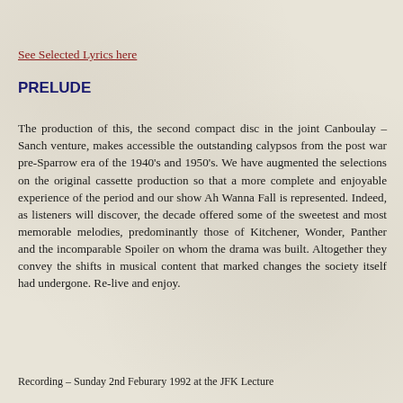See Selected Lyrics here
PRELUDE
The production of this, the second compact disc in the joint Canboulay – Sanch venture, makes accessible the outstanding calypsos from the post war pre-Sparrow era of the 1940's and 1950's. We have augmented the selections on the original cassette production so that a more complete and enjoyable experience of the period and our show Ah Wanna Fall is represented. Indeed, as listeners will discover, the decade offered some of the sweetest and most memorable melodies, predominantly those of Kitchener, Wonder, Panther and the incomparable Spoiler on whom the drama was built. Altogether they convey the shifts in musical content that marked changes the society itself had undergone. Re-live and enjoy.
Recording – Sunday 2nd Feburary 1992 at the JFK Lecture Theatre, The University of The West Indies, St. Augustine, Trinidad.